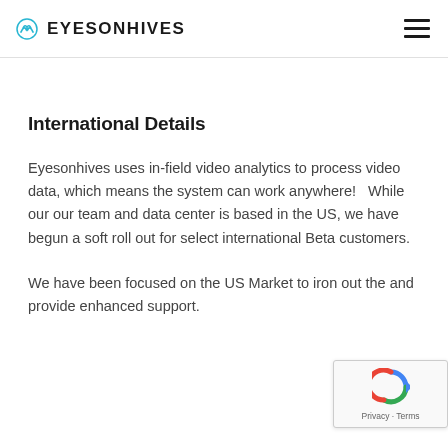EYESONHIVES
International Details
Eyesonhives uses in-field video analytics to process video data, which means the system can work anywhere!   While our our team and data center is based in the US, we have begun a soft roll out for select international Beta customers.
We have been focused on the US Market to iron out the and provide enhanced support.